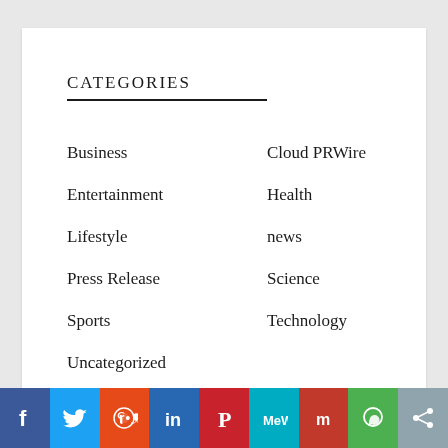CATEGORIES
Business
Cloud PRWire
Entertainment
Health
Lifestyle
news
Press Release
Science
Sports
Technology
Uncategorized